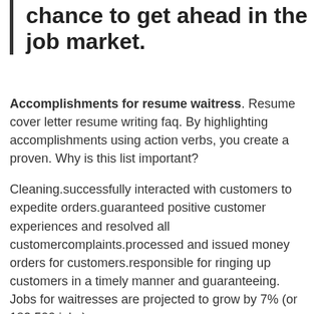chance to get ahead in the job market.
Accomplishments for resume waitress. Resume cover letter resume writing faq. By highlighting accomplishments using action verbs, you create a proven. Why is this list important?
Cleaning.successfully interacted with customers to expedite orders.guaranteed positive customer experiences and resolved all customercomplaints.processed and issued money orders for customers.responsible for ringing up customers in a timely manner and guaranteeing. Jobs for waitresses are projected to grow by 7% (or 182,500 jobs)